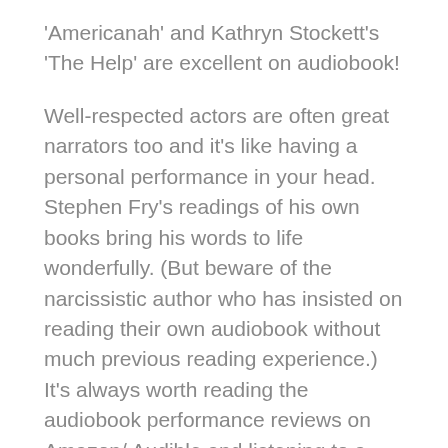'Americanah' and Kathryn Stockett's 'The Help' are excellent on audiobook!
Well-respected actors are often great narrators too and it's like having a personal performance in your head. Stephen Fry's readings of his own books bring his words to life wonderfully. (But beware of the narcissistic author who has insisted on reading their own audiobook without much previous reading experience.) It's always worth reading the audiobook performance reviews on Amazon/ Audible and listening to a sample of the narrator's voice – occasionally you get one who just doesn't work for the book.
Although it's a bit expensive I love the Amazon 'whispersync' option where you can switch